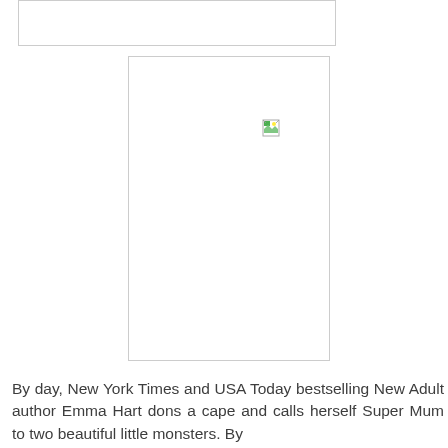[Figure (photo): Top image placeholder (broken/missing image) — wide rectangular outline]
[Figure (photo): Main image placeholder (broken/missing image) — tall rectangular outline with broken image icon in top-left corner]
By day, New York Times and USA Today bestselling New Adult author Emma Hart dons a cape and calls herself Super Mum to two beautiful little monsters. By